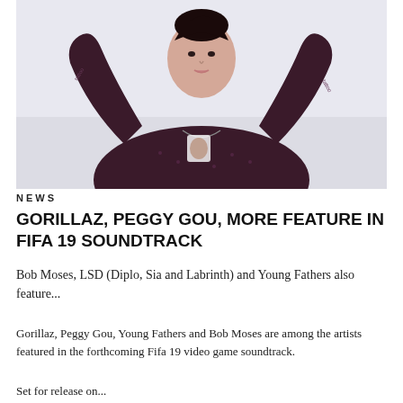[Figure (photo): A person with tattoos wearing a dark patterned shirt, arms raised above head, photographed against a light background.]
NEWS
GORILLAZ, PEGGY GOU, MORE FEATURE IN FIFA 19 SOUNDTRACK
Bob Moses, LSD (Diplo, Sia and Labrinth) and Young Fathers also feature...
Gorillaz, Peggy Gou, Young Fathers and Bob Moses are among the artists featured in the forthcoming Fifa 19 video game soundtrack.
Set for release on...